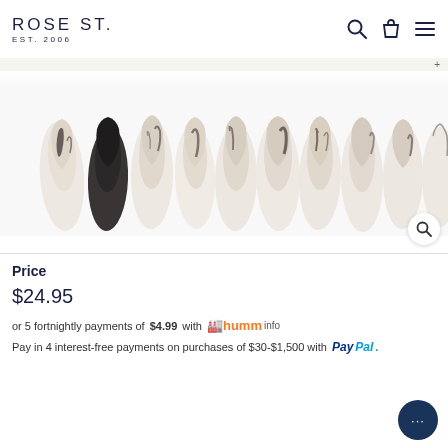ROSE ST. EST. 2006
[Figure (photo): Close-up product photo of press-on nails with black and white marble/tortoise shell pattern arranged in a row]
Price
$24.95
or 5 fortnightly payments of $4.99 with humm info
Pay in 4 interest-free payments on purchases of $30-$1,500 with PayPal.